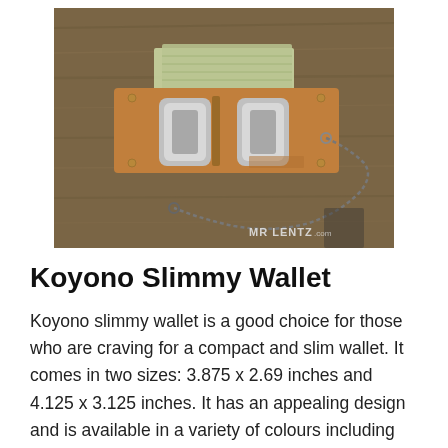[Figure (photo): A tan/brown leather wallet with metal card clips and a ball chain keychain, laid flat on a wooden surface with dollar bills visible. Watermark reads 'MR LENTZ .com' in lower right corner.]
Koyono Slimmy Wallet
Koyono slimmy wallet is a good choice for those who are craving for a compact and slim wallet. It comes in two sizes: 3.875 x 2.69 inches and 4.125 x 3.125 inches. It has an appealing design and is available in a variety of colours including the oil-tanned steer leather version. Along with the aforementioned features, it has two pockets and